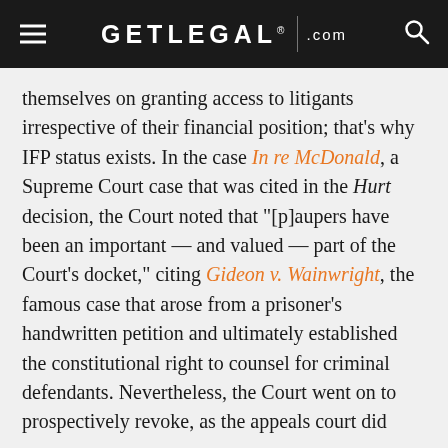GETLEGAL.com
themselves on granting access to litigants irrespective of their financial position; that's why IFP status exists. In the case In re McDonald, a Supreme Court case that was cited in the Hurt decision, the Court noted that "[p]aupers have been an important — and valued — part of the Court's docket," citing Gideon v. Wainwright, the famous case that arose from a prisoner's handwritten petition and ultimately established the constitutional right to counsel for criminal defendants. Nevertheless, the Court went on to prospectively revoke, as the appeals court did